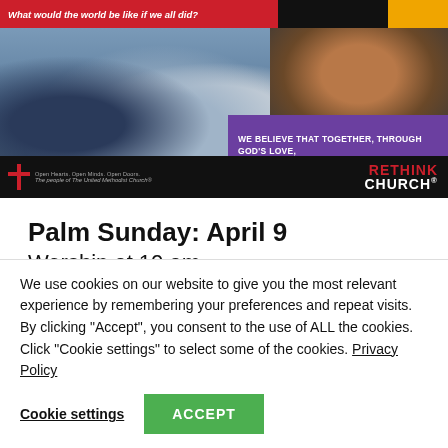[Figure (photo): Rethink Church Easter banner ad showing children smiling, with red header text 'What would the world be like if we all did?', a purple overlay reading 'WE BELIEVE THAT TOGETHER, THROUGH GOD'S LOVE, WE CAN MAKE IT HAPPEN THIS EASTER.' and a black footer bar with United Methodist Church logo and RETHINK CHURCH branding.]
Palm Sunday: April 9
Worship at 10 am.
We use cookies on our website to give you the most relevant experience by remembering your preferences and repeat visits. By clicking "Accept", you consent to the use of ALL the cookies. Click "Cookie settings" to select some of the cookies. Privacy Policy
Cookie settings   ACCEPT